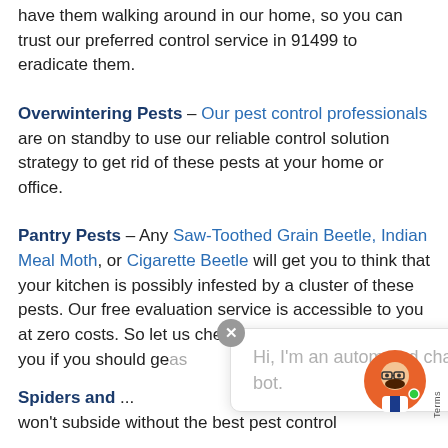have them walking around in our home, so you can trust our preferred control service in 91499 to eradicate them.
Overwintering Pests – Our pest control professionals are on standby to use our reliable control solution strategy to get rid of these pests at your home or office.
Pantry Pests – Any Saw-Toothed Grain Beetle, Indian Meal Moth, or Cigarette Beetle will get you to think that your kitchen is possibly infested by a cluster of these pests. Our free evaluation service is accessible to you at zero costs. So let us check out the problem and tell you if you should ge[as...
Spiders and ... ct won't subside without the best pest control
[Figure (screenshot): Automated chat bot overlay with close button (X), text 'Hi, I'm an automated chat bot.' in grey, and a cartoon avatar of a bearded man with glasses on an orange background with a green online indicator dot. A 'Terms' label appears vertically on the right.]